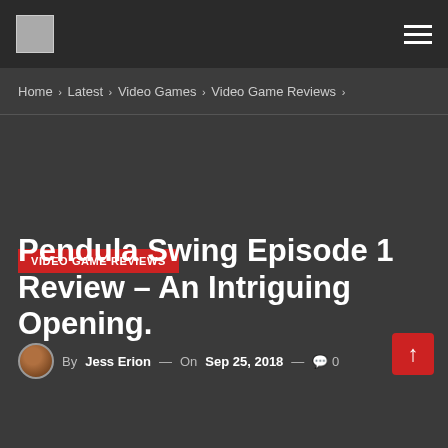Logo | Hamburger menu
Home › Latest › Video Games › Video Game Reviews ›
[Figure (screenshot): Dark background image area placeholder for article hero image]
VIDEO GAME REVIEWS
Pendula Swing Episode 1 Review – An Intriguing Opening.
By Jess Erion — On Sep 25, 2018 — 0